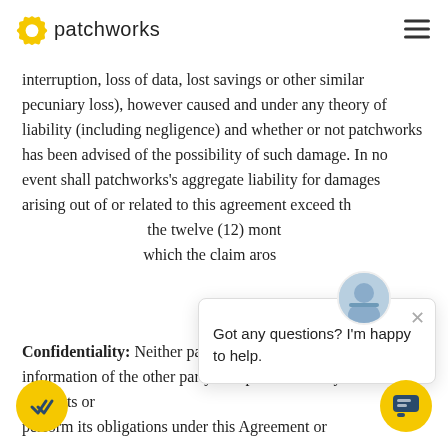patchworks
interruption, loss of data, lost savings or other similar pecuniary loss), however caused and under any theory of liability (including negligence) and whether or not patchworks has been advised of the possibility of such damage. In no event shall patchworks's aggregate liability for damages arising out of or related to this agreement exceed the amounts paid by you during the twelve (12) months immediately preceding the date which the claim arose.
Confidentiality: Neither party shall use any confidential information of the other party except as necessary to exercise its rights or perform its obligations under this Agreement or